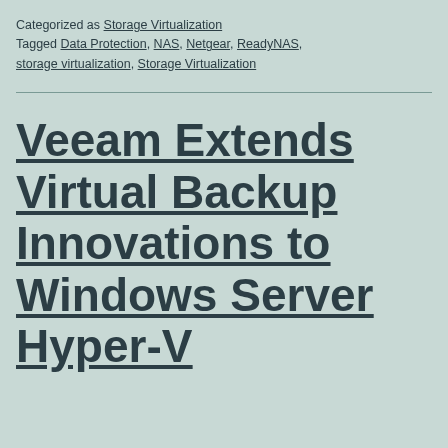Categorized as Storage Virtualization
Tagged Data Protection, NAS, Netgear, ReadyNAS, storage virtualization, Storage Virtualization
Veeam Extends Virtual Backup Innovations to Windows Server Hyper-V